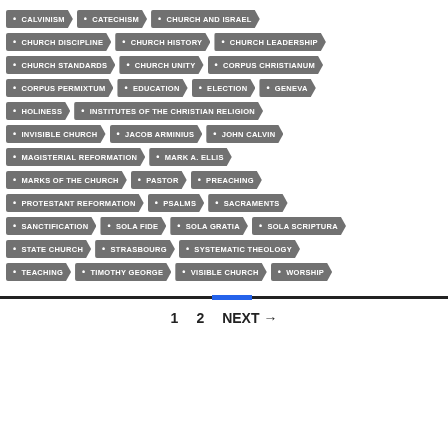CALVINISM
CATECHISM
CHURCH AND ISRAEL
CHURCH DISCIPLINE
CHURCH HISTORY
CHURCH LEADERSHIP
CHURCH STANDARDS
CHURCH UNITY
CORPUS CHRISTIANUM
CORPUS PERMIXTUM
EDUCATION
ELECTION
GENEVA
HOLINESS
INSTITUTES OF THE CHRISTIAN RELIGION
INVISIBLE CHURCH
JACOB ARMINIUS
JOHN CALVIN
MAGISTERIAL REFORMATION
MARK A. ELLIS
MARKS OF THE CHURCH
PASTOR
PREACHING
PROTESTANT REFORMATION
PSALMS
SACRAMENTS
SANCTIFICATION
SOLA FIDE
SOLA GRATIA
SOLA SCRIPTURA
STATE CHURCH
STRASBOURG
SYSTEMATIC THEOLOGY
TEACHING
TIMOTHY GEORGE
VISIBLE CHURCH
WORSHIP
1  2  NEXT →